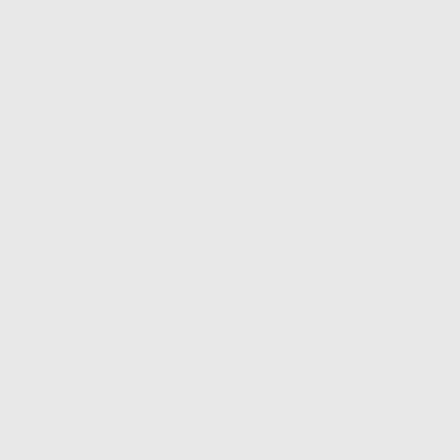[Figure (photo): Thumbnail/avatar image showing a landscape photo icon]
3,870 Views
Posted by rrelyea to Rob Rel
This morning I'm lookin... I'm keeping my head do...
I'll be following as much... using IE7's interface...ju... coming out with Mix.  H...
Update: Bill just said it i
I just upgraded my wife... much time in on it yet...
Bill's keynote: (9am PS
•56K
•100K
•300K